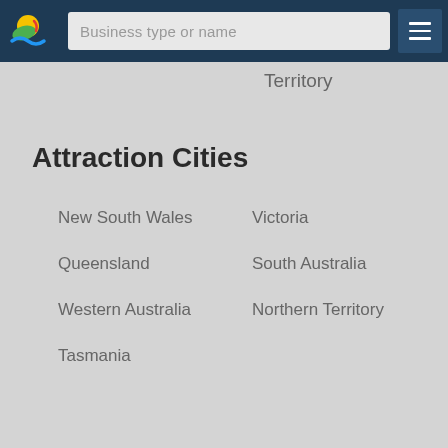[Figure (logo): Tourism Australia or similar travel website logo with sun and wave graphic]
Business type or name
Territory
Attraction Cities
New South Wales
Victoria
Queensland
South Australia
Western Australia
Northern Territory
Tasmania